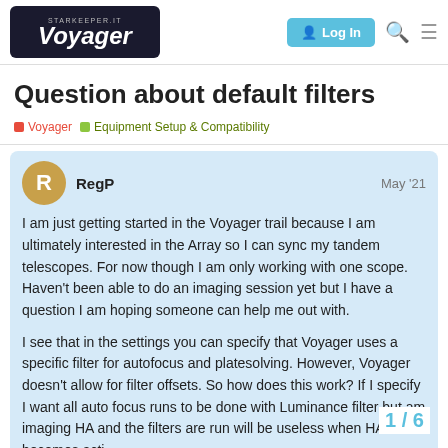Voyager — StarKeeper.it forum navigation bar with Log In button
Question about default filters
Voyager   Equipment Setup & Compatibility
RegP  May '21

I am just getting started in the Voyager trail because I am ultimately interested in the Array so I can sync my tandem telescopes. For now though I am only working with one scope. Haven't been able to do an imaging session yet but I have a question I am hoping someone can help me out with.

I see that in the settings you can specify that Voyager uses a specific filter for autofocus and platesolving. However, Voyager doesn't allow for filter offsets. So how does this work? If I specify I want all auto focus runs to be done with Luminance filter but am imaging HA and the filters are run will be useless when HA becomes acti
1 / 6